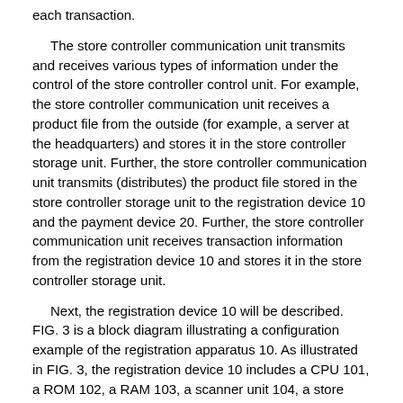each transaction.
The store controller communication unit transmits and receives various types of information under the control of the store controller control unit. For example, the store controller communication unit receives a product file from the outside (for example, a server at the headquarters) and stores it in the store controller storage unit. Further, the store controller communication unit transmits (distributes) the product file stored in the store controller storage unit to the registration device 10 and the payment device 20. Further, the store controller communication unit receives transaction information from the registration device 10 and stores it in the store controller storage unit.
Next, the registration device 10 will be described. FIG. 3 is a block diagram illustrating a configuration example of the registration apparatus 10. As illustrated in FIG. 3, the registration device 10 includes a CPU 101, a ROM 102, a RAM 103, a scanner unit 104, a store clerk display unit 105, a customer display unit 106, a hard disk 107, and a store clerk operation unit 108. A communication unit 109, a buzzer 110, a printing unit 111, and a bus 112. These are connected to each other by a bus 112.